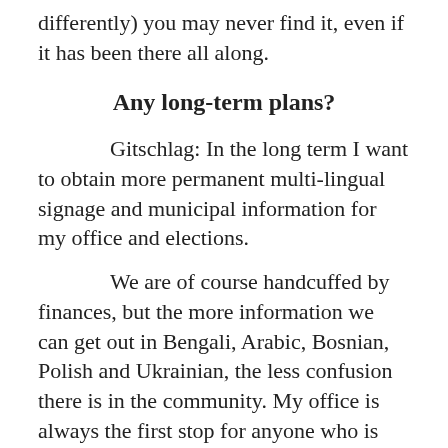differently) you may never find it, even if it has been there all along.
Any long-term plans?
Gitschlag: In the long term I want to obtain more permanent multi-lingual signage and municipal information for my office and elections.
We are of course handcuffed by finances, but the more information we can get out in Bengali, Arabic, Bosnian, Polish and Ukrainian, the less confusion there is in the community. My office is always the first stop for anyone who is confused, so let's work to nip that